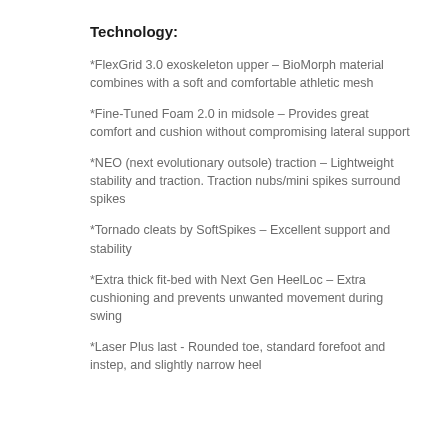Technology:
*FlexGrid 3.0 exoskeleton upper – BioMorph material combines with a soft and comfortable athletic mesh
*Fine-Tuned Foam 2.0 in midsole – Provides great comfort and cushion without compromising lateral support
*NEO (next evolutionary outsole) traction – Lightweight stability and traction. Traction nubs/mini spikes surround spikes
*Tornado cleats by SoftSpikes – Excellent support and stability
*Extra thick fit-bed with Next Gen HeelLoc – Extra cushioning and prevents unwanted movement during swing
*Laser Plus last - Rounded toe, standard forefoot and instep, and slightly narrow heel